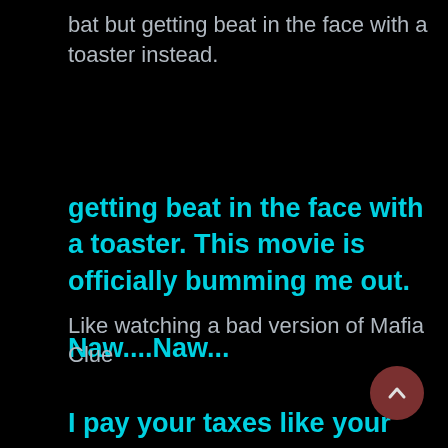bat but getting beat in the face with a toaster instead.
getting beat in the face with a toaster. This movie is officially bumming me out.
Naw....Naw...
I pay your taxes like your mom's and dad's do.
Like watching a bad version of Mafia Clue